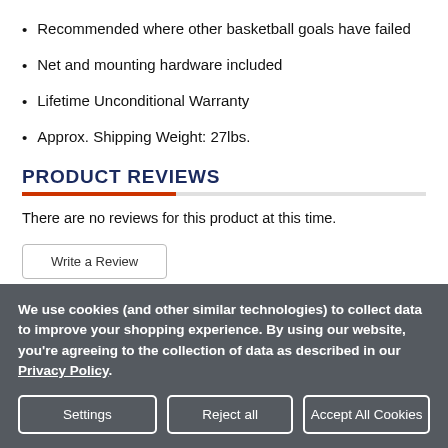Recommended where other basketball goals have failed
Net and mounting hardware included
Lifetime Unconditional Warranty
Approx. Shipping Weight: 27lbs.
PRODUCT REVIEWS
There are no reviews for this product at this time.
Write a Review
We use cookies (and other similar technologies) to collect data to improve your shopping experience. By using our website, you're agreeing to the collection of data as described in our Privacy Policy.